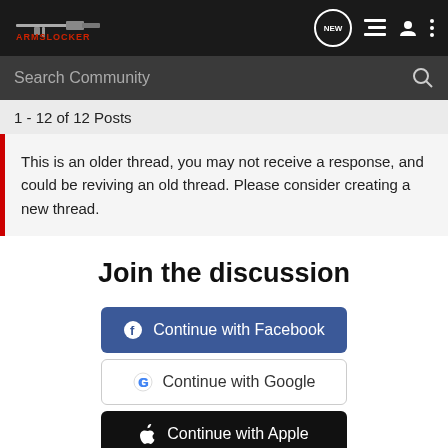ArmsLocker — navigation header with logo, NEW badge, list icon, user icon, menu icon
Search Community
1 - 12 of 12 Posts
This is an older thread, you may not receive a response, and could be reviving an old thread. Please consider creating a new thread.
Join the discussion
Continue with Facebook
Continue with Google
Continue with Apple
or sign up with email